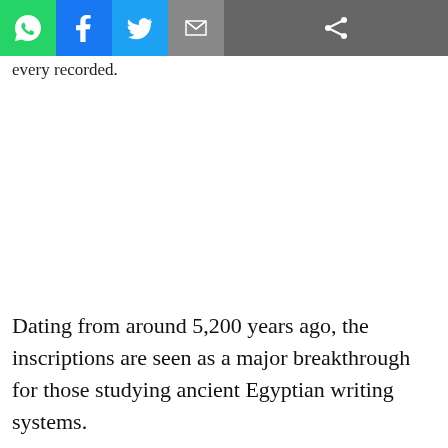[Social share toolbar: WhatsApp, Facebook, Twitter, Email, Share]
every recorded.
Dating from around 5,200 years ago, the inscriptions are seen as a major breakthrough for those studying ancient Egyptian writing systems.